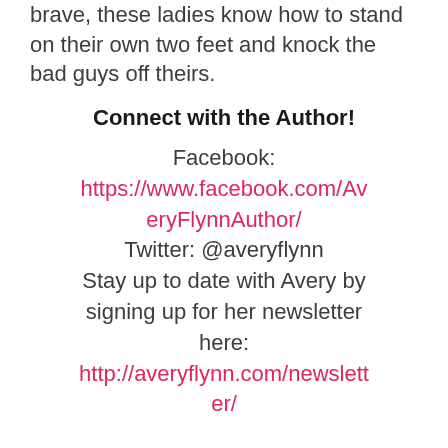brave, these ladies know how to stand on their own two feet and knock the bad guys off theirs.
Connect with the Author!
Facebook:
https://www.facebook.com/AveryFlynnAuthor/
Twitter: @averyflynn
Stay up to date with Avery by signing up for her newsletter here:
http://averyflynn.com/newsletter/